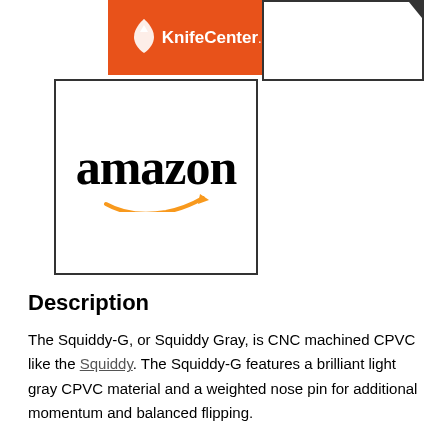[Figure (logo): KnifeCenter.com logo: orange background with white text and knife/bird icon]
[Figure (logo): Partial logo in a bordered box, mostly white with a small dark icon at top right]
[Figure (logo): Amazon logo in bordered box: black 'amazon' text with orange smile arrow]
Description
The Squiddy-G, or Squiddy Gray, is CNC machined CPVC like the Squiddy. The Squiddy-G features a brilliant light gray CPVC material and a weighted nose pin for additional momentum and balanced flipping.